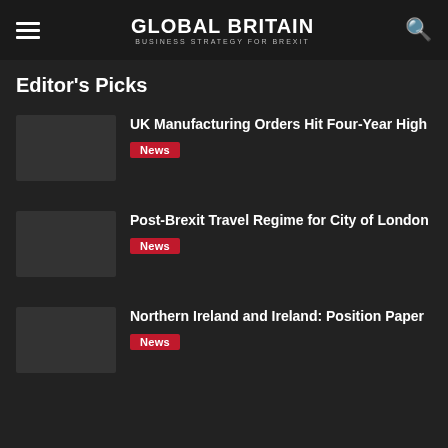GLOBAL BRITAIN — BUSINESS STRATEGY FOR BREXIT
Editor's Picks
UK Manufacturing Orders Hit Four-Year High — News
Post-Brexit Travel Regime for City of London — News
Northern Ireland and Ireland: Position Paper — News